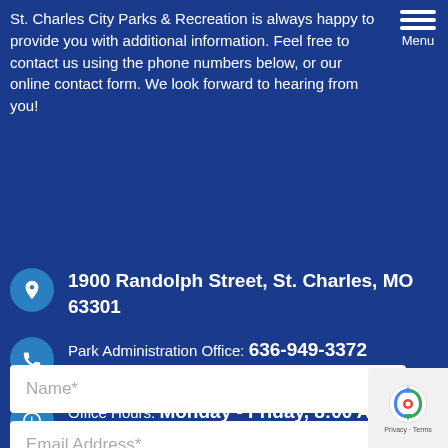St. Charles City Parks & Recreation is always happy to provide you with additional information. Feel free to contact us using the phone numbers below, or our online contact form. We look forward to hearing from you!
[Figure (other): Hamburger menu icon with three horizontal lines and the word Menu]
1900 Randolph Street, St. Charles, MO 63301
Park Administration Office: 636-949-3372
Office Hours: Monday - Friday, 8:00 AM to 5:00 PM
Name*
Email Address*